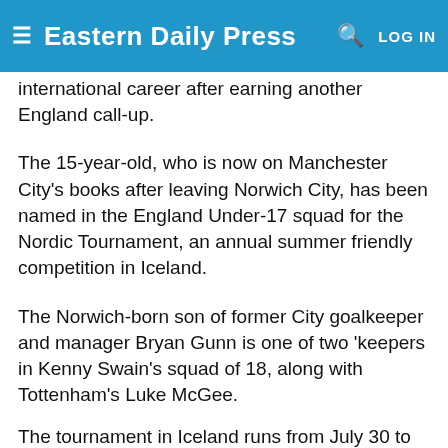Eastern Daily Press — LOG IN
international career after earning another England call-up.
The 15-year-old, who is now on Manchester City's books after leaving Norwich City, has been named in the England Under-17 squad for the Nordic Tournament, an annual summer friendly competition in Iceland.
The Norwich-born son of former City goalkeeper and manager Bryan Gunn is one of two 'keepers in Kenny Swain's squad of 18, along with Tottenham's Luke McGee.
The tournament in Iceland runs from July 30 to August 8. England face Faroe Islands, Norway and Iceland before a final match against either Sweden, Denmark